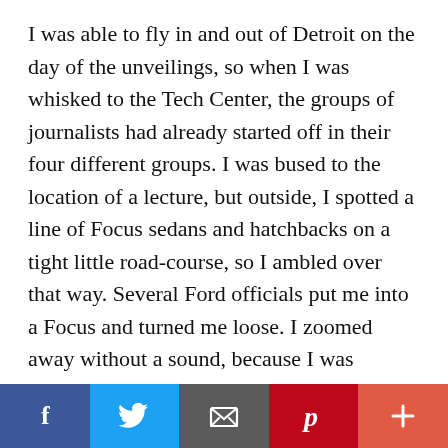I was able to fly in and out of Detroit on the day of the unveilings, so when I was whisked to the Tech Center, the groups of journalists had already started off in their four different groups. I was bused to the location of a lecture, but outside, I spotted a line of Focus sedans and hatchbacks on a tight little road-course, so I ambled over that way. Several Ford officials put me into a Focus and turned me loose. I zoomed away without a sound, because I was driving the new Focus Electric, with no gas-engine backup. Housing a new lithium-ion battery pack with permanent magnetic electric traction motor, the car had surprising quickness
[Figure (infographic): Social sharing bar with five buttons: Facebook (blue), Twitter (light blue), Email/envelope (dark gray), Pinterest (dark red), and More/plus (orange-red)]